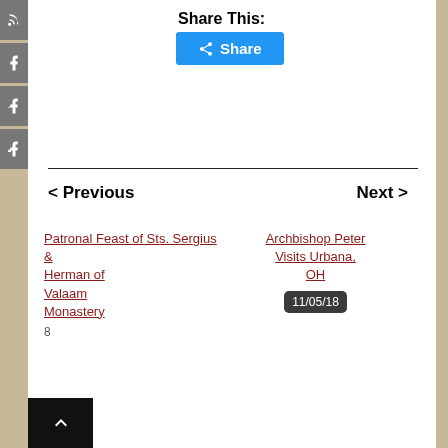[Figure (infographic): Social media sidebar icons: RSS feed, Facebook, Facebook Like, Facebook Share — dark gray square buttons on left edge]
Share This:
[Figure (other): Blue 'Share' button with upload/share icon]
< Previous   Next >
Patronal Feast of Sts. Sergius & Herman of Valaam Monastery
Archbishop Peter Visits Urbana, OH
11/05/18
[Figure (other): Back to top button — black square with white up-arrow chevron]